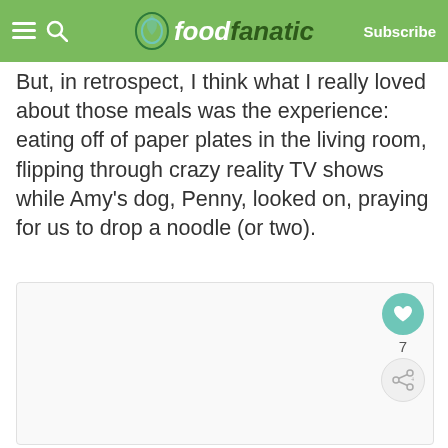foodfanatic — Subscribe
But, in retrospect, I think what I really loved about those meals was the experience: eating off of paper plates in the living room, flipping through crazy reality TV shows while Amy's dog, Penny, looked on, praying for us to drop a noodle (or two).
[Figure (photo): Large image placeholder area, predominantly white/light gray, with a heart/like button showing count of 7 and a share button on the right side]